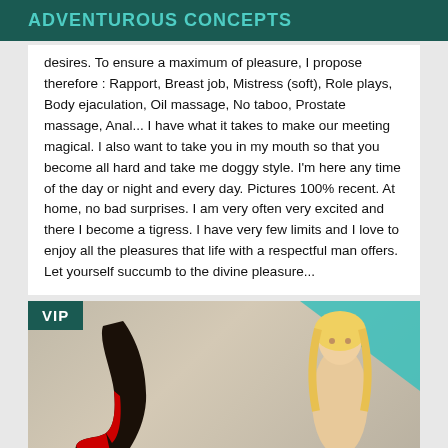ADVENTUROUS CONCEPTS
desires. To ensure a maximum of pleasure, I propose therefore : Rapport, Breast job, Mistress (soft), Role plays, Body ejaculation, Oil massage, No taboo, Prostate massage, Anal... I have what it takes to make our meeting magical. I also want to take you in my mouth so that you become all hard and take me doggy style. I'm here any time of the day or night and every day. Pictures 100% recent. At home, no bad surprises. I am very often very excited and there I become a tigress. I have very few limits and I love to enjoy all the pleasures that life with a respectful man offers. Let yourself succumb to the divine pleasure...
[Figure (photo): Photo card with VIP badge showing a woman in red high heel boots and a blonde woman, with a teal triangle decorative element in the top right corner.]